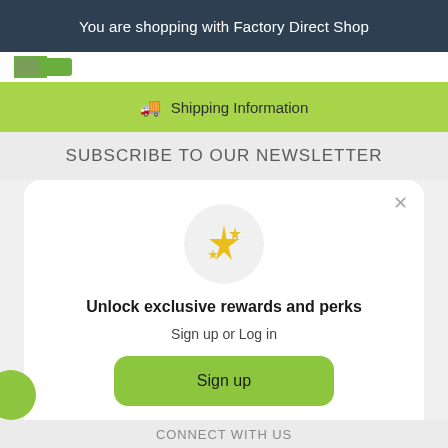You are shopping with Factory Direct Shop
🚚  Shipping Information
SUBSCRIBE TO OUR NEWSLETTER
[Figure (screenshot): Modal popup with sparkle emoji icon, headline 'Unlock exclusive rewards and perks', subtext 'Sign up or Log in', a green Sign up button, and 'Already have an account? Sign in' link]
Unlock exclusive rewards and perks
Sign up or Log in
Sign up
Already have an account? Sign in
CONNECT WITH US